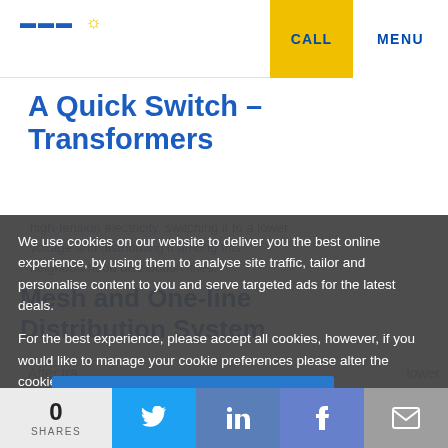CALL  MENU
A Quick Switch – Transformers
neighbourhood distribution lines.
Mesh and One-line Distribution System
We use cookies on our website to deliver you the best online experience, by using them to analyse site traffic, tailor and personalise content to you and serve targeted ads for the latest deals.

For the best experience, please accept all cookies, however, if you would like to manage your cookie preferences please alter the cookie choices here to control your consent.
After tra... ... lower
0 SHARES